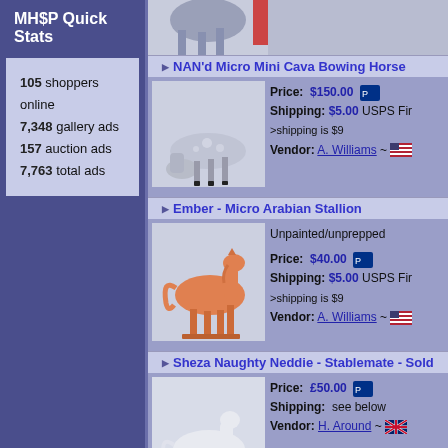MH$P Quick Stats
105 shoppers online
7,348 gallery ads
157 auction ads
7,763 total ads
[Figure (photo): Partial photo of a horse figurine (grey/blue), cropped at top]
NAN'd Micro Mini Cava Bowing Horse
[Figure (photo): Grey dapple micro mini horse figurine in bowing pose]
Price: $150.00   Shipping: $5.00 USPS Fir >shipping is $9   Vendor: A. Williams ~ [US flag]
Ember - Micro Arabian Stallion
[Figure (photo): Orange unpainted micro Arabian stallion figurine]
Unpainted/unprepped
Price: $40.00   Shipping: $5.00 USPS Fir >shipping is $9   Vendor: A. Williams ~ [US flag]
Sheza Naughty Neddie - Stablemate - Sold
[Figure (photo): White stablemate horse figurine]
Price: £50.00   Shipping: see below   Vendor: H. Around ~ [UK flag]
Sheza Naughty Neddie - Stablemate - Sold